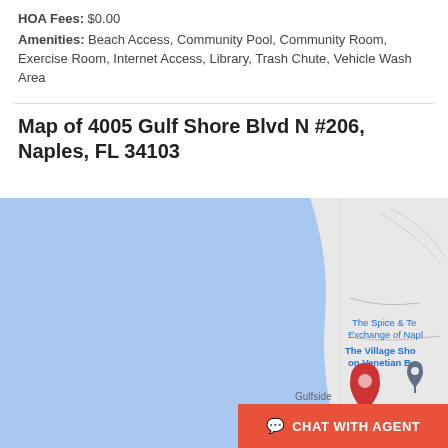HOA Fees: $0.00
Amenities: Beach Access, Community Pool, Community Room, Exercise Room, Internet Access, Library, Trash Chute, Vehicle Wash Area
Map of 4005 Gulf Shore Blvd N #206, Naples, FL 34103
[Figure (map): Google Maps view of 4005 Gulf Shore Blvd N #206, Naples, FL 34103 showing Gulf of Mexico (blue water area) on the left, with landmarks including The Spice & Tea Exchange of Naples, The Village Shops on Venetian Bay, a location pin marker for the property, and Gulfside label. A red location pin marks the property location.]
CHAT WITH AGENT